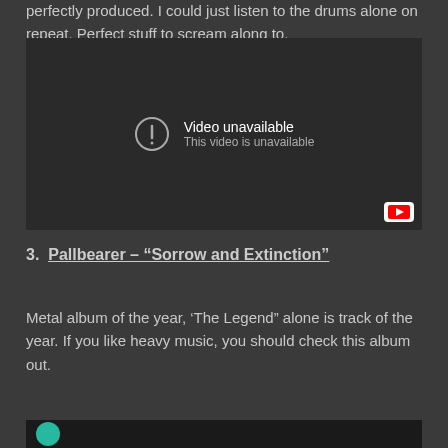perfectly produced. I could just listen to the drums alone on repeat. Perfect stuff to scream along to.
[Figure (screenshot): Embedded YouTube video player showing 'Video unavailable / This video is unavailable' error message on a dark background, with YouTube logo in bottom right corner.]
3.  Pallbearer – “Sorrow and Extinction”
Metal album of the year, ‘The Legend” alone is track of the year. If you like heavy music, you should check this album out.
[Figure (screenshot): Bottom of another embedded video player, showing a teal/green circular play button icon area.]